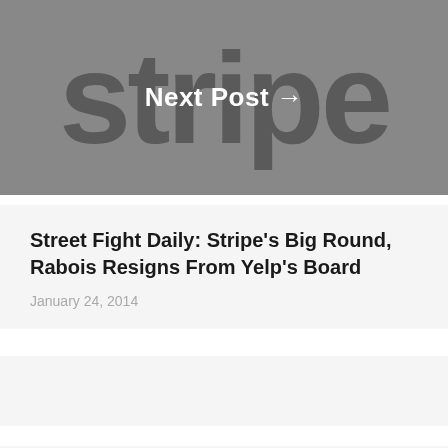[Figure (screenshot): Banner with grey background showing large 'stripe' text behind a white 'Next Post →' label]
Street Fight Daily: Stripe's Big Round, Rabois Resigns From Yelp's Board
January 24, 2014
[Figure (other): Empty grey placeholder card]
[Figure (other): Empty grey placeholder card]
STREET FIGHT COLUMNS